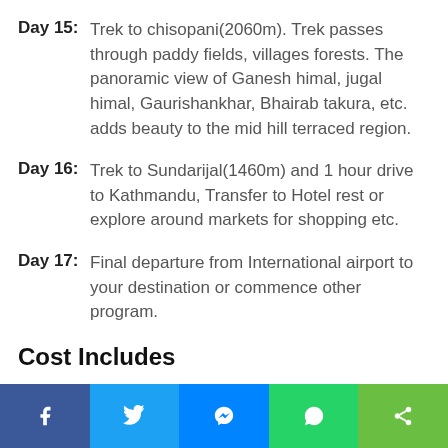Day 15: Trek to chisopani(2060m). Trek passes through paddy fields, villages forests. The panoramic view of Ganesh himal, jugal himal, Gaurishankhar, Bhairab takura, etc. adds beauty to the mid hill terraced region.
Day 16: Trek to Sundarijal(1460m) and 1 hour drive to Kathmandu, Transfer to Hotel rest or explore around markets for shopping etc.
Day 17: Final departure from International airport to your destination or commence other program.
Cost Includes
Airport / Hotel / Airport pick up / drop & transfer by private car / van/ Haice. (Depend on group size).
Facebook Twitter Messenger WhatsApp Share